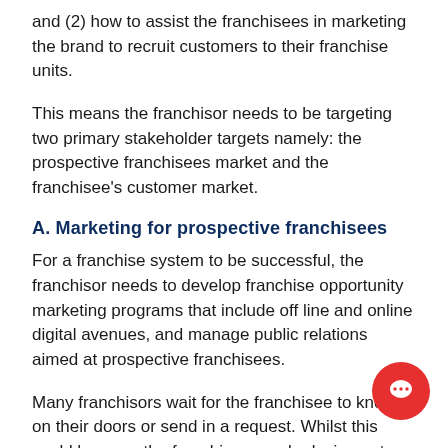and (2) how to assist the franchisees in marketing the brand to recruit customers to their franchise units.
This means the franchisor needs to be targeting two primary stakeholder targets namely: the prospective franchisees market and the franchisee's customer market.
A. Marketing for prospective franchisees
For a franchise system to be successful, the franchisor needs to develop franchise opportunity marketing programs that include off line and online digital avenues, and manage public relations aimed at prospective franchisees.
Many franchisors wait for the franchisee to knock on their doors or send in a request. Whilst this could happen, the franchisor may be losing out on